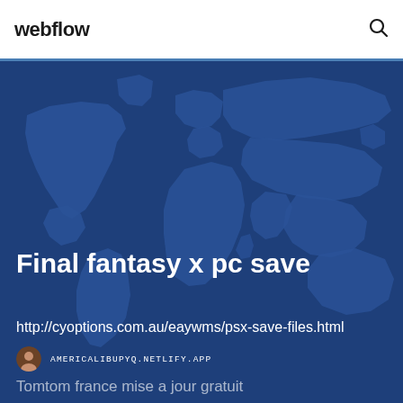webflow
[Figure (illustration): World map silhouette on dark blue background used as hero section background]
Final fantasy x pc save
http://cyoptions.com.au/eaywms/psx-save-files.html
AMERICALIBUPYQ.NETLIFY.APP
Tomtom france mise a jour gratuit